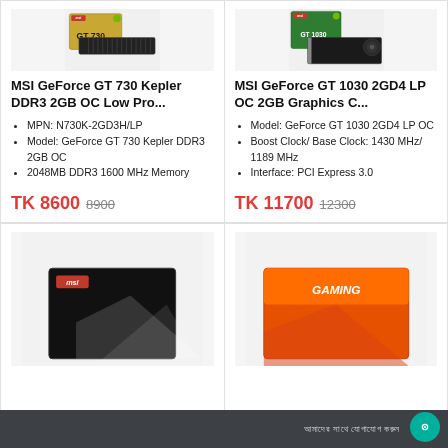[Figure (photo): MSI GeForce GT 730 GPU product photo with box]
MSI GeForce GT 730 Kepler DDR3 2GB OC Low Pro...
MPN: N730K-2GD3H/LP
Model: GeForce GT 730 Kepler DDR3 2GB OC
2048MB DDR3 1600 MHz Memory
TK 8600  8900
[Figure (photo): MSI GeForce GT 1030 GPU product photo with box]
MSI GeForce GT 1030 2GD4 LP OC 2GB Graphics C...
Model: GeForce GT 1030 2GD4 LP OC
Boost Clock/ Base Clock: 1430 MHz/ 1189 MHz
Interface: PCI Express 3.0
TK 11700  12300
[Figure (photo): MSI product box partially visible (bottom left card)]
[Figure (photo): Orange branded product box partially visible (bottom right card)]
আমাদের সাথে যোগাযোগ করুন